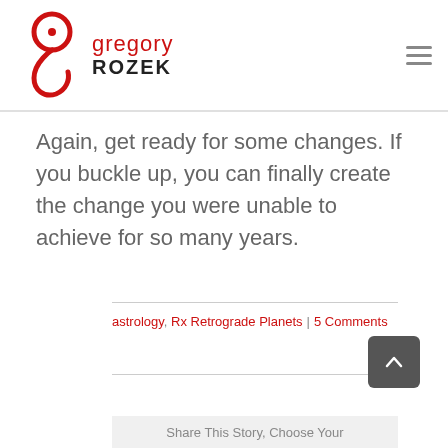gregory ROZEK
Again, get ready for some changes. If you buckle up, you can finally create the change you were unable to achieve for so many years.
astrology, Rx Retrograde Planets | 5 Comments
Share This Story, Choose Your